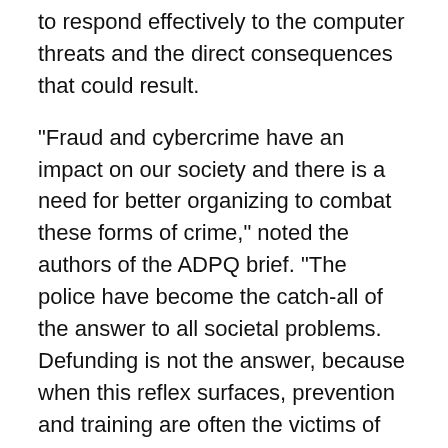to respond effectively to the computer threats and the direct consequences that could result.
"Fraud and cybercrime have an impact on our society and there is a need for better organizing to combat these forms of crime," noted the authors of the ADPQ brief. "The police have become the catch-all of the answer to all societal problems. Defunding is not the answer, because when this reflex surfaces, prevention and training are often the victims of these cuts. The reflex to believe that the problems of our southern neighbours are present with the same proportion in Canada is an important and harmful bias," the ADPQ said.
In addition, to improve the detection of computer attacks and strengthen data security to avoid misuse, Quebec's association of police directors agrees with financial security expert Mr. Pomerleau. The aim is to